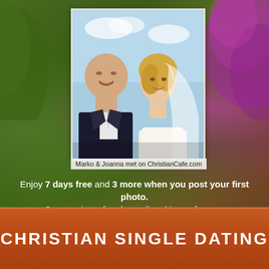[Figure (photo): Wedding couple photo: bald groom in dark suit and white tie, blonde bride in white wedding dress with veil, smiling together outdoors with sky background]
Marko & Joanna met on ChristianCafe.com
Enjoy 7 days free and 3 more when you post your first photo. Communicate free by mail and in our forums.
Yes, we're Christian owned and have been successfully matching Christian singles since 1999.
CHRISTIAN SINGLE DATING